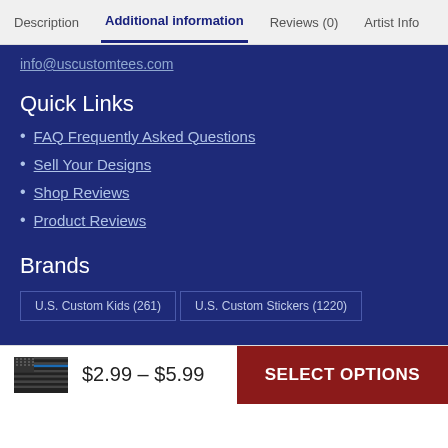Description | Additional information | Reviews (0) | Artist Info
info@uscustomtees.com
Quick Links
FAQ Frequently Asked Questions
Sell Your Designs
Shop Reviews
Product Reviews
Brands
U.S. Custom Kids (261)    U.S. Custom Stickers (1220)
$2.99 – $5.99
SELECT OPTIONS